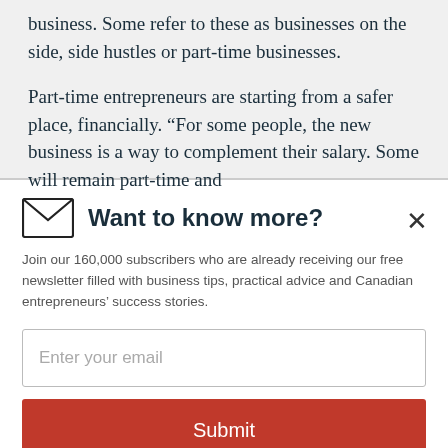business. Some refer to these as businesses on the side, side hustles or part-time businesses.
Part-time entrepreneurs are starting from a safer place, financially. “For some people, the new business is a way to complement their salary. Some will remain part-time and
[Figure (other): Close (X) button for modal dialog]
Want to know more?
Join our 160,000 subscribers who are already receiving our free newsletter filled with business tips, practical advice and Canadian entrepreneurs’ success stories.
Enter your email
Submit